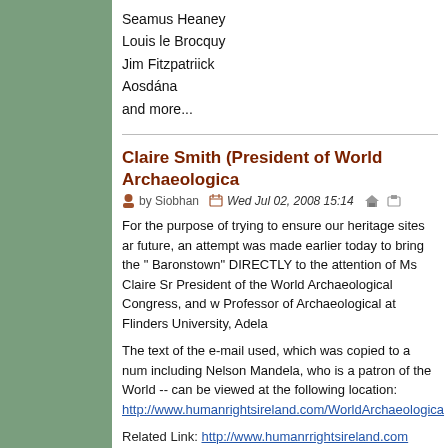Seamus Heaney
Louis le Brocquy
Jim Fitzpatriick
Aosdána
and more...
Claire Smith (President of World Archaeologica...
by Siobhan   Wed Jul 02, 2008 15:14
For the purpose of trying to ensure our heritage sites ar... future, an attempt was made earlier today to bring the "... Baronstown" DIRECTLY to the attention of Ms Claire Sr... President of the World Archaeological Congress, and w... Professor of Archaeological at Flinders University, Adela...
The text of the e-mail used, which was copied to a num... including Nelson Mandela, who is a patron of the World... -- can be viewed at the following location:
http://www.humanrightsireland.com/WorldArchaeologica...
Related Link: http://www.humanrightsireland.com
Invitation to WAC
by Muireann Ni Bhrolchain   Thu Jul 10, 2008 21:04
I am listed above as one invited to speak at WAC. I received no such invitation.